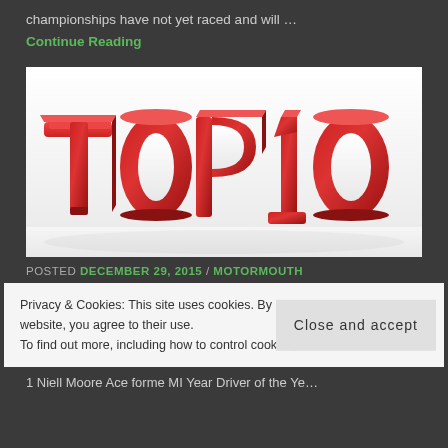championships have not yet raced and will …
Continue Reading
[Figure (illustration): 3D red block letters spelling 'TOP 10' on a white background]
POSTED DECEMBER 29, 2015 / MOTORMOUTH
Privacy & Cookies: This site uses cookies. By continuing to use this website, you agree to their use. To find out more, including how to control cookies,
Close and accept
1 Niell Moore Ace forme MI Year Driver of the Ye...